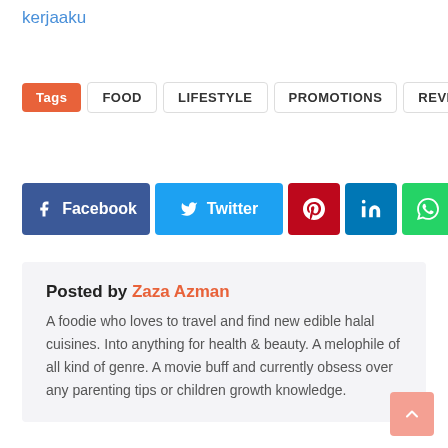kerjaaku
Tags  FOOD  LIFESTYLE  PROMOTIONS  REVIEW
[Figure (other): Social sharing buttons: Facebook, Twitter, Pinterest, LinkedIn, WhatsApp, Email]
Posted by Zaza Azman
A foodie who loves to travel and find new edible halal cuisines. Into anything for health & beauty. A melophile of all kind of genre. A movie buff and currently obsess over any parenting tips or children growth knowledge.